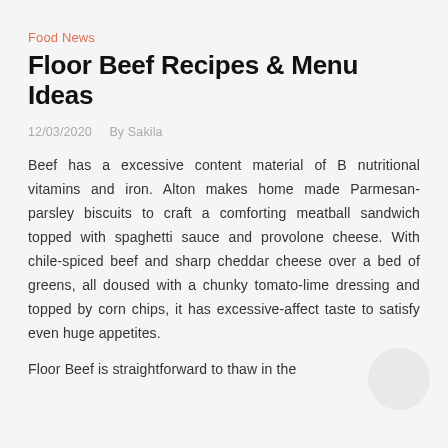Food News
Floor Beef Recipes & Menu Ideas
12/03/2020   By Sakila
Beef has a excessive content material of B nutritional vitamins and iron. Alton makes home made Parmesan-parsley biscuits to craft a comforting meatball sandwich topped with spaghetti sauce and provolone cheese. With chile-spiced beef and sharp cheddar cheese over a bed of greens, all doused with a chunky tomato-lime dressing and topped by corn chips, it has excessive-affect taste to satisfy even huge appetites.
Floor Beef is straightforward to thaw in the